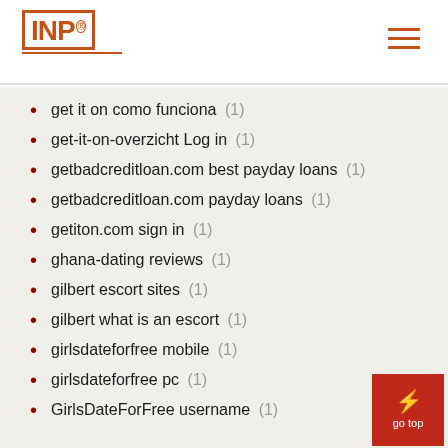INP logo with hamburger menu
get it on como funciona (1)
get-it-on-overzicht Log in (1)
getbadcreditloan.com best payday loans (1)
getbadcreditloan.com payday loans (1)
getiton.com sign in (1)
ghana-dating reviews (1)
gilbert escort sites (1)
gilbert what is an escort (1)
girlsdateforfree mobile (1)
girlsdateforfree pc (1)
GirlsDateForFree username (1)